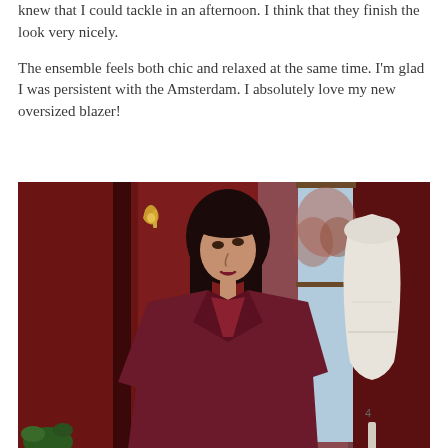knew that I could tackle in an afternoon. I think that they finish the look very nicely.
The ensemble feels both chic and relaxed at the same time. I'm glad I was persistent with the Amsterdam. I absolutely love my new oversized blazer!
[Figure (photo): A woman with long dark hair wearing a dark red/burgundy oversized blazer stands in a room with red walls, looking upward. To the right is a white dressing/mannequin form. A window with blurred outdoor trees is visible in the background center. A wall sconce is visible on the upper left.]